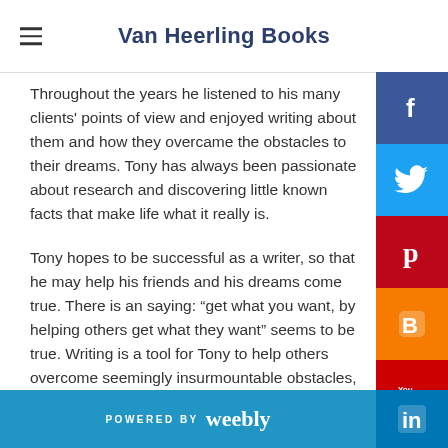Van Heerling Books
Throughout the years he listened to his many clients' points of view and enjoyed writing about them and how they overcame the obstacles to their dreams. Tony has always been passionate about research and discovering little known facts that make life what it really is.
Tony hopes to be successful as a writer, so that he may help his friends and his dreams come true. There is an saying: “get what you want, by helping others get what they want” seems to be true. Writing is a tool for Tony to help others overcome seemingly insurmountable obstacles, and make their dreams come true.
Tony Miller’s first novel is "I'll See You In Your Dreams" and
POWERED BY weebly